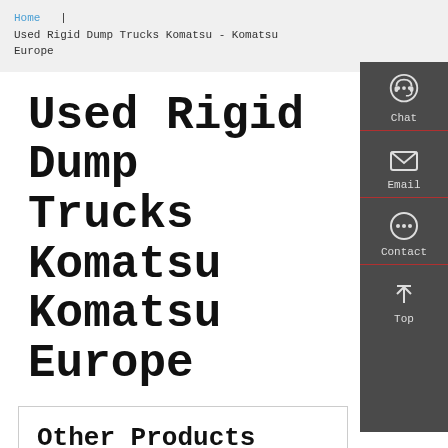Home | Used Rigid Dump Trucks Komatsu - Komatsu Europe
Used Rigid Dump Trucks Komatsu Komatsu Europe
Other Products
[Figure (infographic): Sidebar with Chat, Email, Contact, and Top navigation icons on a dark grey background]